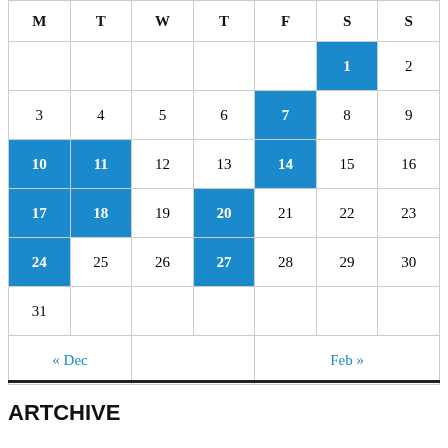| M | T | W | T | F | S | S |
| --- | --- | --- | --- | --- | --- | --- |
|  |  |  |  |  | 1 | 2 |
| 3 | 4 | 5 | 6 | 7 | 8 | 9 |
| 10 | 11 | 12 | 13 | 14 | 15 | 16 |
| 17 | 18 | 19 | 20 | 21 | 22 | 23 |
| 24 | 25 | 26 | 27 | 28 | 29 | 30 |
| 31 |  |  |  |  |  |  |
| « Dec |  |  |  | Feb » |  |  |
ARTCHIVE